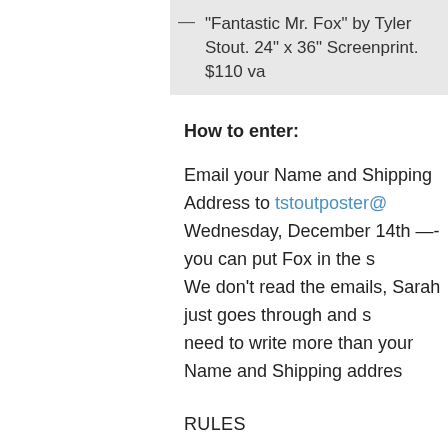— "Fantastic Mr. Fox" by Tyler Stout. 24" x 36" Screenprint. $110 va
How to enter:
Email your Name and Shipping Address to tstoutposter@ Wednesday, December 14th —- you can put Fox in the s We don't read the emails, Sarah just goes through and s need to write more than your Name and Shipping addres
RULES
1. Only submit your name once, via email. Your address address as well as your shipping address. If you get cho address, we'll assume you've submitted many entries un you'll be disqualified.
2. If your name is submitted more than once, you'll be di